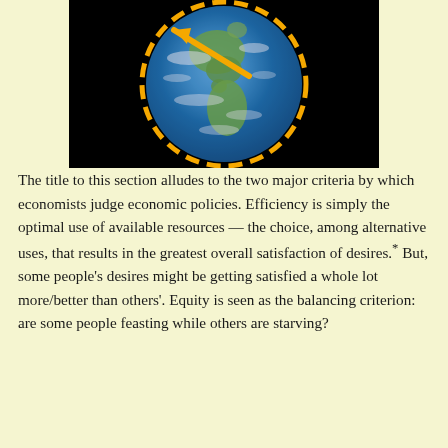[Figure (illustration): Photograph of Earth from space (showing Americas) with a dashed orange circle around the globe and an orange arrow pointing toward the upper-left, suggesting direction or rotation.]
The title to this section alludes to the two major criteria by which economists judge economic policies. Efficiency is simply the optimal use of available resources — the choice, among alternative uses, that results in the greatest overall satisfaction of desires.* But, some people's desires might be getting satisfied a whole lot more/better than others'. Equity is seen as the balancing criterion: are some people feasting while others are starving?